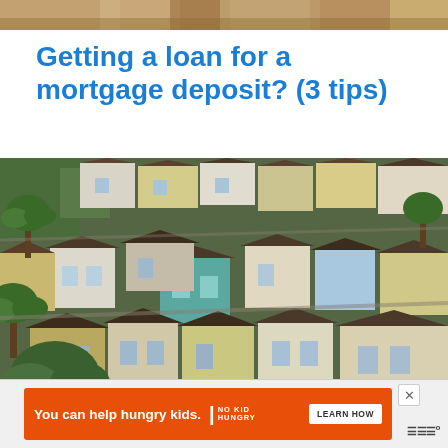[Figure (photo): Partial top strip of an aerial photo of houses with tiled roofs]
Getting a loan for a mortgage deposit? (3 tips)
[Figure (photo): Aerial view of a dense residential neighborhood with houses of various colors and dark tiled roofs, with palm trees visible]
[Figure (other): Orange advertisement banner: 'You can help hungry kids.' with No Kid Hungry logo and 'LEARN HOW' button, with a close (X) button and weather icon in bottom right]